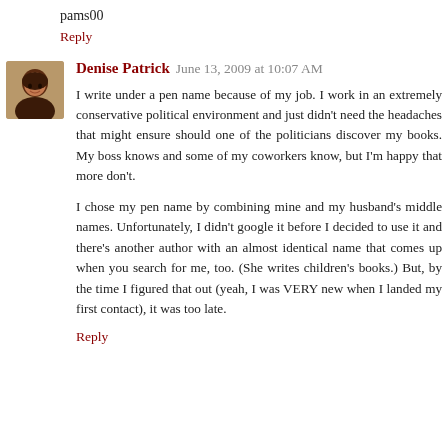pams00
Reply
Denise Patrick  June 13, 2009 at 10:07 AM
I write under a pen name because of my job. I work in an extremely conservative political environment and just didn't need the headaches that might ensure should one of the politicians discover my books. My boss knows and some of my coworkers know, but I'm happy that more don't.
I chose my pen name by combining mine and my husband's middle names. Unfortunately, I didn't google it before I decided to use it and there's another author with an almost identical name that comes up when you search for me, too. (She writes children's books.) But, by the time I figured that out (yeah, I was VERY new when I landed my first contact), it was too late.
Reply